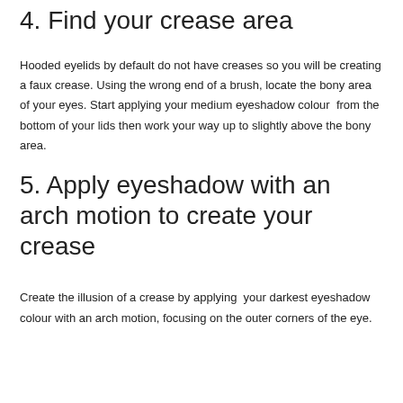4. Find your crease area
Hooded eyelids by default do not have creases so you will be creating a faux crease. Using the wrong end of a brush, locate the bony area of your eyes. Start applying your medium eyeshadow colour  from the bottom of your lids then work your way up to slightly above the bony area.
5. Apply eyeshadow with an arch motion to create your crease
Create the illusion of a crease by applying  your darkest eyeshadow colour with an arch motion, focusing on the outer corners of the eye.